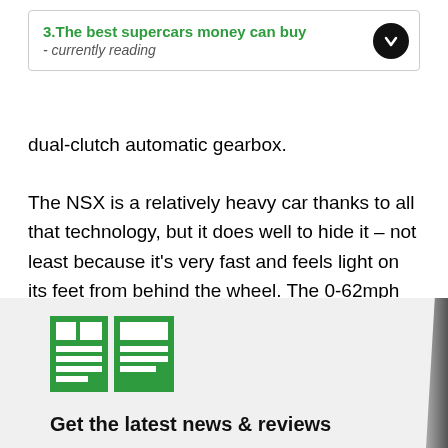3.The best supercars money can buy - currently reading
dual-clutch automatic gearbox.
The NSX is a relatively heavy car thanks to all that technology, but it does well to hide it – not least because it's very fast and feels light on its feet from behind the wheel. The 0-62mph sprint takes around three seconds and you'll accelerate on to a top speed of 191mph if you have a closed runway or racetrack to play on.
[Figure (logo): Green newspaper/article icon with horizontal lines representing text]
Get the latest news & reviews